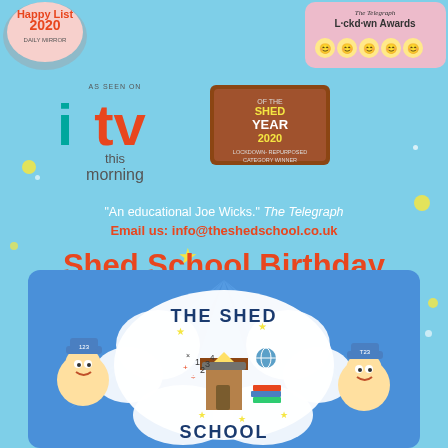[Figure (logo): Happy List 2020 badge top left]
[Figure (logo): The Telegraph Lockdown Awards badge top right]
[Figure (logo): ITV This Morning logo with 'as seen on' text]
[Figure (logo): Shed of the Year 2020 Lockdown Repurposed Category Winner badge]
"An educational Joe Wicks." The Telegraph
Email us: info@theshedschool.co.uk
Shed School Birthday Parties are HERE!
[Figure (illustration): The Shed School cartoon logo with comic-book style illustration showing two cartoon children characters and a shed with educational symbols, stars, and 'THE SHED SCHOOL' text in a cloud burst]